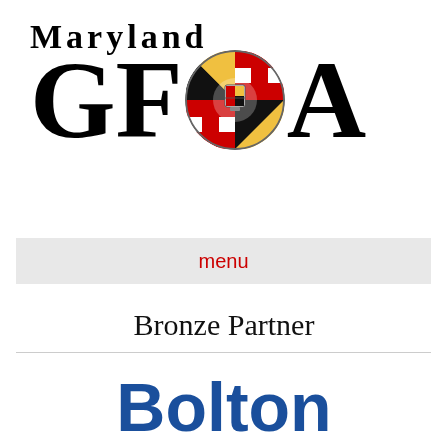[Figure (logo): Maryland GFOA logo with large bold serif letters G, F, O (replaced by Maryland state flag sphere), A, and 'Maryland' text above]
menu
Bronze Partner
[Figure (logo): Bolton company logo in bold blue text]